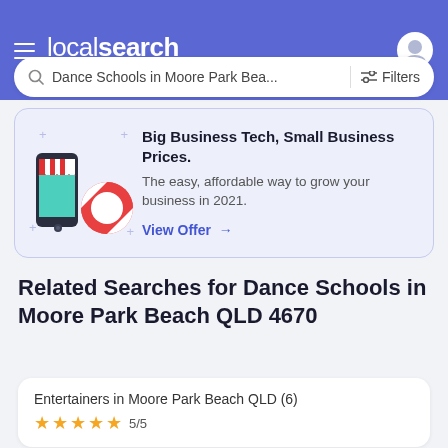localsearch
Dance Schools in Moore Park Bea... Filters
[Figure (illustration): Illustration of a smartphone with a store awning and a life preserver ring, with decorative plus signs around it]
Big Business Tech, Small Business Prices. The easy, affordable way to grow your business in 2021. View Offer →
Related Searches for Dance Schools in Moore Park Beach QLD 4670
Entertainers in Moore Park Beach QLD (6) ★★★★★ 5/5